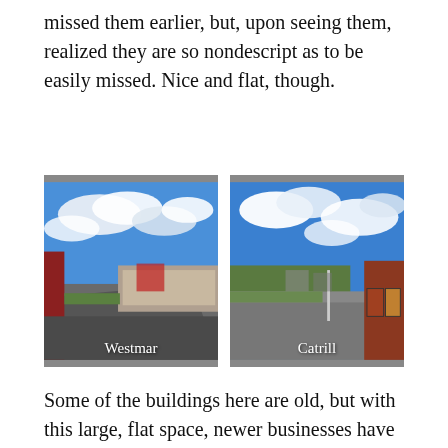missed them earlier, but, upon seeing them, realized they are so nondescript as to be easily missed. Nice and flat, though.
[Figure (photo): Street-level view of a flat industrial area with a red building/fence on the left and graffiti wall in the background under a blue sky with clouds. Label: Westmar]
[Figure (photo): Street-level view of a flat open area with a brick building on the right, trees and structures in the background, blue sky with clouds. Label: Catrill]
Some of the buildings here are old, but with this large, flat space, newer businesses have moved in, too. Duquense Light has a large space with dozens of their trucks; the Port Authority has a large bus servicing area along